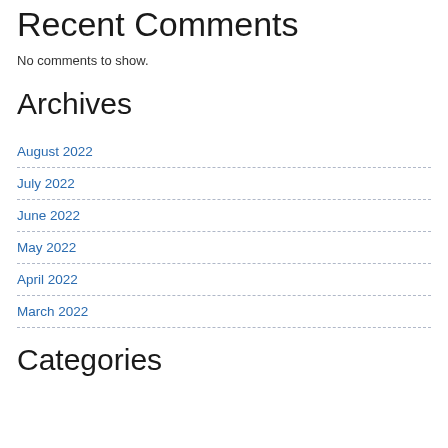Recent Comments
No comments to show.
Archives
August 2022
July 2022
June 2022
May 2022
April 2022
March 2022
Categories